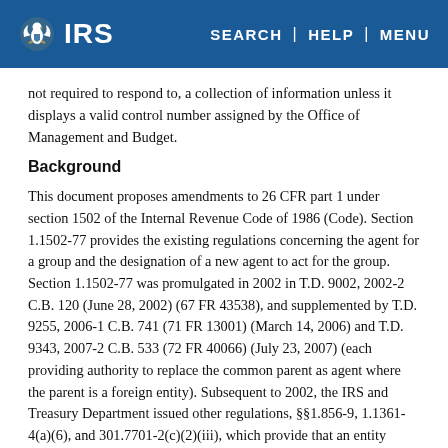IRS | SEARCH | HELP | MENU
not required to respond to, a collection of information unless it displays a valid control number assigned by the Office of Management and Budget.
Background
This document proposes amendments to 26 CFR part 1 under section 1502 of the Internal Revenue Code of 1986 (Code). Section 1.1502-77 provides the existing regulations concerning the agent for a group and the designation of a new agent to act for the group. Section 1.1502-77 was promulgated in 2002 in T.D. 9002, 2002-2 C.B. 120 (June 28, 2002) (67 FR 43538), and supplemented by T.D. 9255, 2006-1 C.B. 741 (71 FR 13001) (March 14, 2006) and T.D. 9343, 2007-2 C.B. 533 (72 FR 40066) (July 23, 2007) (each providing authority to replace the common parent as agent where the parent is a foreign entity). Subsequent to 2002, the IRS and Treasury Department issued other regulations, §§1.856-9, 1.1361-4(a)(6), and 301.7701-2(c)(2)(iii), which provide that an entity treated